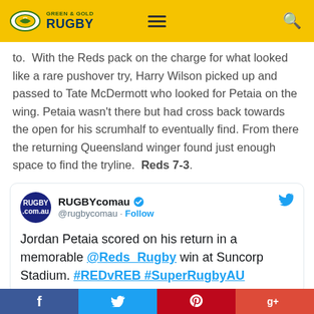[Figure (logo): Green & Gold Rugby website header with yellow background, logo with oval shape, hamburger menu icon, and search icon]
to.  With the Reds pack on the charge for what looked like a rare pushover try, Harry Wilson picked up and passed to Tate McDermott who looked for Petaia on the wing. Petaia wasn't there but had cross back towards the open for his scrumhalf to eventually find. From there the returning Queensland winger found just enough space to find the tryline.  Reds 7-3.
[Figure (screenshot): Embedded tweet from RUGBYcomau (@rugbycomau) with Twitter bird icon. Text: Jordan Petaia scored on his return in a memorable @Reds_Rugby win at Suncorp Stadium. #REDvREB #SuperRugbyAU]
f  [twitter]  [pinterest]  g+